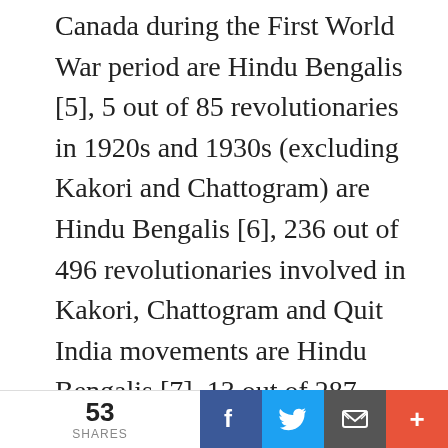Canada during the First World War period are Hindu Bengalis [5], 5 out of 85 revolutionaries in 1920s and 1930s (excluding Kakori and Chattogram) are Hindu Bengalis [6], 236 out of 496 revolutionaries involved in Kakori, Chattogram and Quit India movements are Hindu Bengalis [7], 13 out of 287 members of the Indian National Army, resistance movements in Hyderabad and Goa are Hindu Bengalis [8]. Thus 27.1% of revolutionaries (321 of 1185) were Hindu Bengalis, who comprised 7.1-7.5% of the overall population of undivided India. Thi
53 SHARES | Facebook | Twitter | Email | +